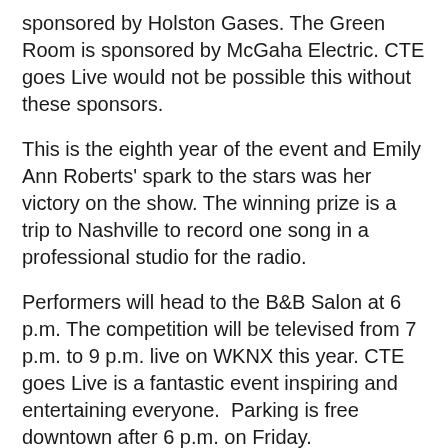sponsored by Holston Gases. The Green Room is sponsored by McGaha Electric. CTE goes Live would not be possible this without these sponsors.
This is the eighth year of the event and Emily Ann Roberts' spark to the stars was her victory on the show. The winning prize is a trip to Nashville to record one song in a professional studio for the radio.
Performers will head to the B&B Salon at 6 p.m. The competition will be televised from 7 p.m. to 9 p.m. live on WKNX this year. CTE goes Live is a fantastic event inspiring and entertaining everyone.  Parking is free downtown after 6 p.m. on Friday.
[Figure (infographic): Social media share buttons: Facebook (0), Twitter (0), LinkedIn (0), Pinterest (0)]